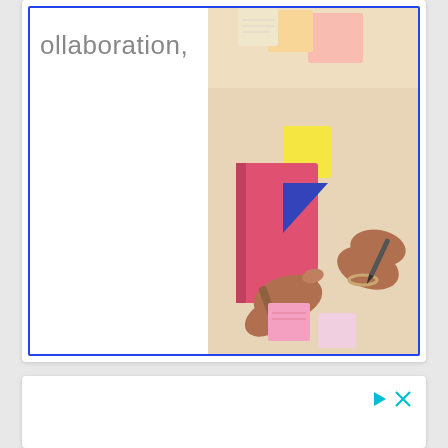ollaboration,
[Figure (photo): Two people's hands writing or placing sticky notes on a wall board with colorful sticky notes. The photo has a warm, bright background. There is a blue border around the image area.]
[Figure (screenshot): A second card/advertisement area at the bottom with white background, showing play and close (X) icons in teal/cyan color at the top right corner.]